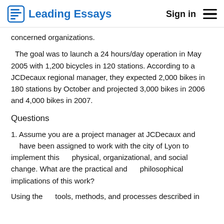Leading Essays  Sign in
concerned organizations.
The goal was to launch a 24 hours/day operation in May 2005 with 1,200 bicycles in 120 stations. According to a JCDecaux regional manager, they expected 2,000 bikes in 180 stations by October and projected 3,000 bikes in 2006 and 4,000 bikes in 2007.
Questions
1. Assume you are a project manager at JCDecaux and have been assigned to work with the city of Lyon to implement this    physical, organizational, and social change. What are the practical and    philosophical implications of this work?
Using the    tools, methods, and processes described in